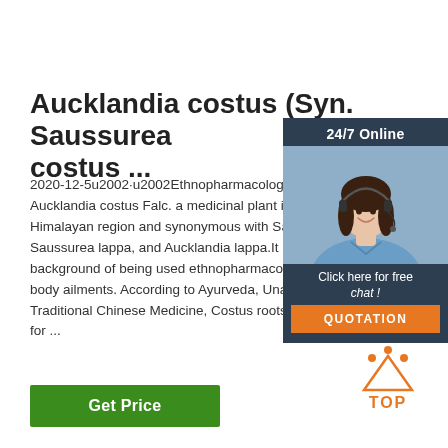Aucklandia costus (Syn. Saussurea costus ...
2020-12-5u2002·u2002Ethnopharmacological re Aucklandia costus Falc. a medicinal plant is nati Himalayan region and synonymous with Saussu Saussurea lappa, and Aucklandia lappa.It has an background of being used ethnopharmacologica body ailments. According to Ayurveda, Unani, Si Traditional Chinese Medicine, Costus roots are r for ...
[Figure (screenshot): Sidebar overlay with 24/7 Online chat support, woman with headset, Click here for free chat!, and QUOTATION button]
[Figure (logo): Orange TOP logo with dots above]
Get Price